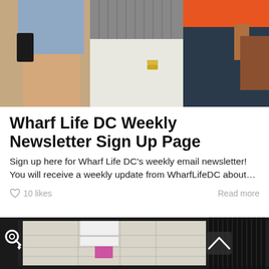[Figure (photo): Group of people standing together, partially cropped photo showing torsos and hands]
Wharf Life DC Weekly Newsletter Sign Up Page
Sign up here for Wharf Life DC's weekly email newsletter! You will receive a weekly update from WharfLifeDC about…
♡ 10 likes    Read more
[Figure (photo): Dark background with a blurry map/floor plan displayed on a screen, with a white key icon on the left side and a chevron/up arrow button on the right]